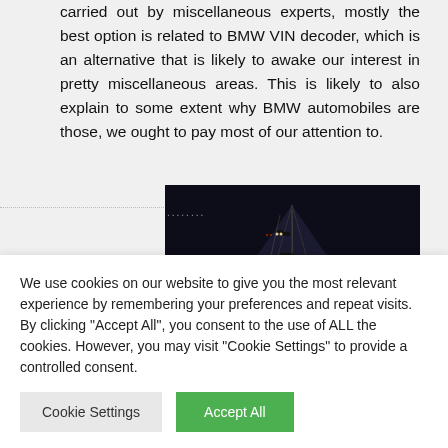carried out by miscellaneous experts, mostly the best option is related to BMW VIN decoder, which is an alternative that is likely to awake our interest in pretty miscellaneous areas. This is likely to also explain to some extent why BMW automobiles are those, we ought to pay most of our attention to.
[Figure (photo): Night-time highway traffic photo showing cars with red taillights and headlights in heavy traffic on a multi-lane road]
We use cookies on our website to give you the most relevant experience by remembering your preferences and repeat visits. By clicking "Accept All", you consent to the use of ALL the cookies. However, you may visit "Cookie Settings" to provide a controlled consent.